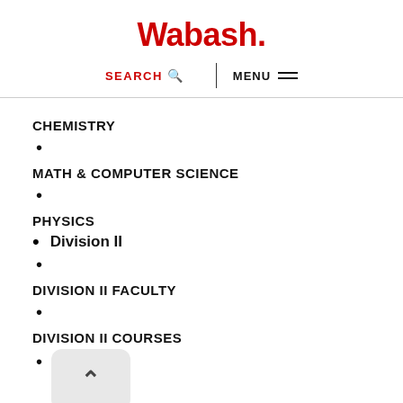Wabash.
SEARCH  MENU
CHEMISTRY
•
MATH & COMPUTER SCIENCE
•
PHYSICS
• Division II
•
DIVISION II FACULTY
•
DIVISION II COURSES
•
[Figure (screenshot): Back to top button with upward caret arrow]
A
•